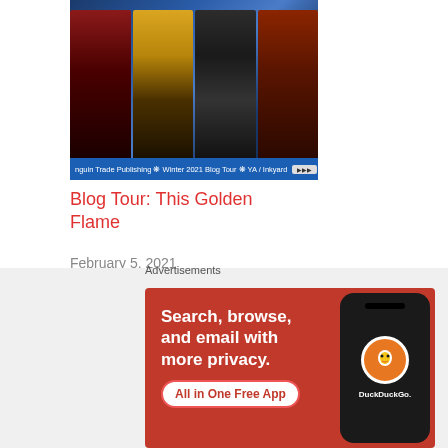[Figure (illustration): Book cover collage showing multiple YA fantasy book covers on a blue background with a tour banner bar at the bottom reading 'Penguin Trade Publishing * Winter 2021 Blog Tour * YA / Inkyard']
Blog Tour: This Golden Flame
February 5, 2021
In "arc review"
Posted in: arc review, Blog Tour, Book Review, netgalley review, TBR
[Figure (screenshot): DuckDuckGo advertisement banner with orange-red background reading 'Search, browse, and email with more privacy. All in One Free App' with a phone showing DuckDuckGo logo]